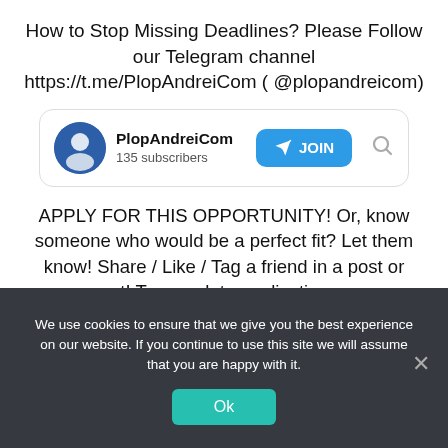How to Stop Missing Deadlines? Please Follow our Telegram channel https://t.me/PlopAndreiCom ( @plopandreicom)
[Figure (screenshot): Telegram channel widget showing PlopAndreiCom with 135 subscribers, a JOIN button, and a search icon]
APPLY FOR THIS OPPORTUNITY! Or, know someone who would be a perfect fit? Let them know! Share / Like / Tag a friend in a post or comment! To complete application process efficiently and successfully, you must read the
We use cookies to ensure that we give you the best experience on our website. If you continue to use this site we will assume that you are happy with it. Ok